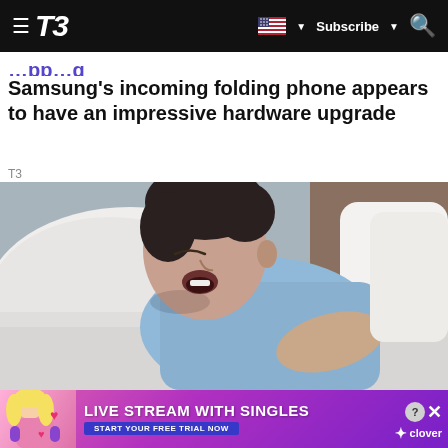T3 | Subscribe
Samsung's incoming folding phone appears to have an impressive hardware upgrade
T3
[Figure (photo): Man sleeping in bed with mouth open, wearing a light blue t-shirt, resting on white pillows]
[Figure (screenshot): Advertisement banner: LIVE STREAM WITH SINGLES - START YOUR FREE TRIAL NOW - clover]